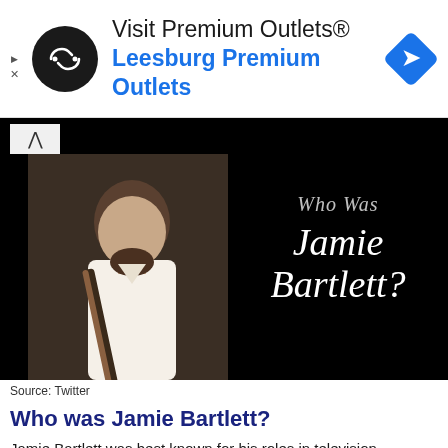[Figure (other): Advertisement banner for Visit Premium Outlets - Leesburg Premium Outlets with circular logo and blue navigation diamond icon]
[Figure (photo): A man in a white shirt with a guitar strap, next to black background text reading 'Who was Jamie Bartlett?' in italic serif font]
Source: Twitter
Who was Jamie Bartlett?
Jamie Bartlett was best known for his roles in television, including Mike O'Reilly (a negative character in Isidingo on SABC3) and David Genaro (a negative role in Rhythm City on ETV). Aside from